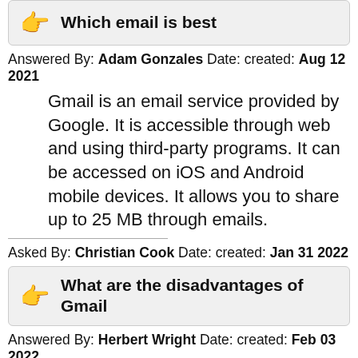Which email is best
Answered By: Adam Gonzales Date: created: Aug 12 2021
Gmail is an email service provided by Google. It is accessible through web and using third-party programs. It can be accessed on iOS and Android mobile devices. It allows you to share up to 25 MB through emails.
Asked By: Christian Cook Date: created: Jan 31 2022
What are the disadvantages of Gmail
Answered By: Herbert Wright Date: created: Feb 03 2022
A Few Disadvantages of GmailUser Name Availability – Some users have complained that it's hard to get the user